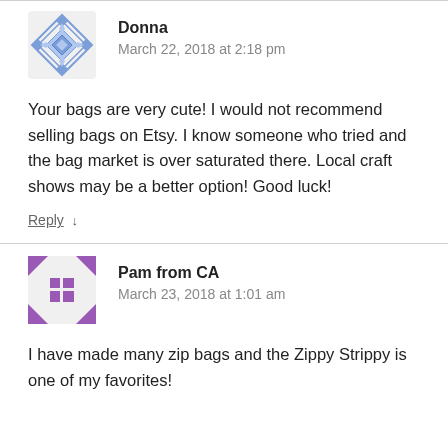[Figure (illustration): Blue geometric quilt/diamond pattern avatar for user Donna]
Donna
March 22, 2018 at 2:18 pm
Your bags are very cute! I would not recommend selling bags on Etsy. I know someone who tried and the bag market is over saturated there. Local craft shows may be a better option! Good luck!
Reply ↓
[Figure (illustration): Purple geometric cross/square pattern avatar for user Pam from CA]
Pam from CA
March 23, 2018 at 1:01 am
I have made many zip bags and the Zippy Strippy is one of my favorites!